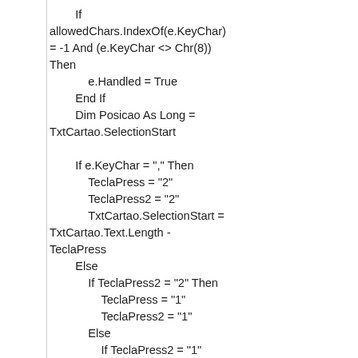If allowedChars.IndexOf(e.KeyChar) = -1 And (e.KeyChar <> Chr(8)) Then
            e.Handled = True
        End If
        Dim Posicao As Long = TxtCartao.SelectionStart

        If e.KeyChar = "," Then
            TeclaPress = "2"
            TeclaPress2 = "2"
            TxtCartao.SelectionStart = TxtCartao.Text.Length - TeclaPress
        Else
            If TeclaPress2 = "2" Then
                TeclaPress = "1"
                TeclaPress2 = "1"
            Else
                If TeclaPress2 = "1" Then
        Then